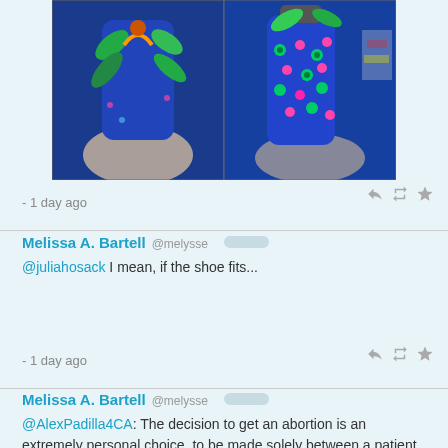[Figure (photo): Two photos of a blue bottle decorated with colorful craft items - left shows a creature face made of polymer clay with green leaves and purple eyes, right shows the bottle covered in colorful circular decorations on blue background]
- 1 day ago
Melissa A. Bartell @melysse
@juliahosack I mean, if the shoe fits...
- 1 day ago
Melissa A. Bartell @melysse
@AlexPadilla4CA: The decision to get an abortion is an extremely personal choice, to be made solely between a patient and doctor, with the support of friends and family. It is NOT a decision to be DICTATED